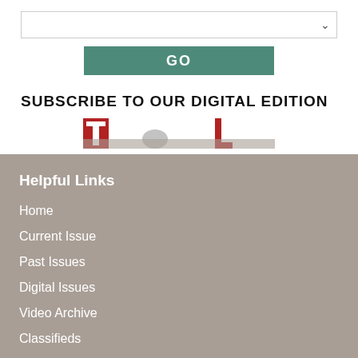[Figure (other): Dropdown select bar with chevron arrow on right side]
GO
SUBSCRIBE TO OUR DIGITAL EDITION
[Figure (logo): Partially visible red and dark logo text, cropped at bottom of white section]
Helpful Links
Home
Current Issue
Past Issues
Digital Issues
Video Archive
Classifieds